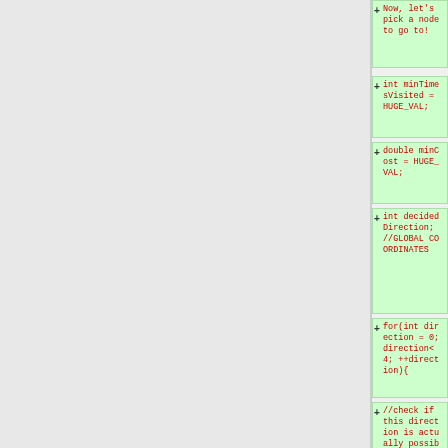[Figure (screenshot): Code diff view showing added lines (green background) with red text. Left panel is grey/empty, right panel shows diff blocks with + markers and code snippets including: 'Now, let's pick a node to go to!', 'int minTimesVisited = HUGE_VAL;', 'double minCost = HUGE_VAL;', 'int decidedDirection; //GLOBAL COORDINATES', 'for(int direction = 0; direction<4; ++direction){', '//check if this direction is actually possible', 'if(isPossibleDirection(type,direction)){', 'int thisCorridorTimesVisited =']